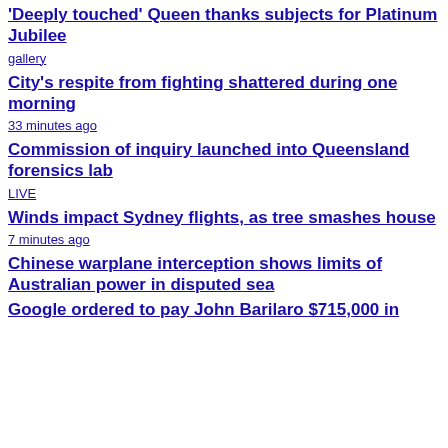'Deeply touched' Queen thanks subjects for Platinum Jubilee
gallery
City's respite from fighting shattered during one morning
33 minutes ago
Commission of inquiry launched into Queensland forensics lab
LIVE
Winds impact Sydney flights, as tree smashes house
7 minutes ago
Chinese warplane interception shows limits of Australian power in disputed sea
Google ordered to pay John Barilaro $715,000 in